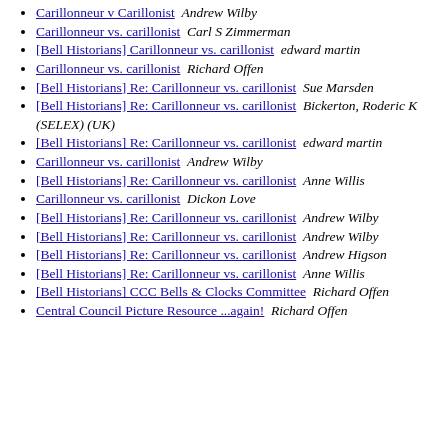Carillonneur v Carillonist  Andrew Wilby
Carillonneur vs. carillonist   Carl S Zimmerman
[Bell Historians] Carillonneur vs. carillonist   edward martin
Carillonneur vs. carillonist   Richard Offen
[Bell Historians] Re: Carillonneur vs. carillonist   Sue Marsden
[Bell Historians] Re: Carillonneur vs. carillonist   Bickerton, Roderic K (SELEX) (UK)
[Bell Historians] Re: Carillonneur vs. carillonist   edward martin
Carillonneur vs. carillonist   Andrew Wilby
[Bell Historians] Re: Carillonneur vs. carillonist   Anne Willis
Carillonneur vs. carillonist   Dickon Love
[Bell Historians] Re: Carillonneur vs. carillonist   Andrew Wilby
[Bell Historians] Re: Carillonneur vs. carillonist   Andrew Wilby
[Bell Historians] Re: Carillonneur vs. carillonist   Andrew Higson
[Bell Historians] Re: Carillonneur vs. carillonist   Anne Willis
[Bell Historians] CCC Bells & Clocks Committee   Richard Offen
Central Council Picture Resource ...again!   Richard Offen